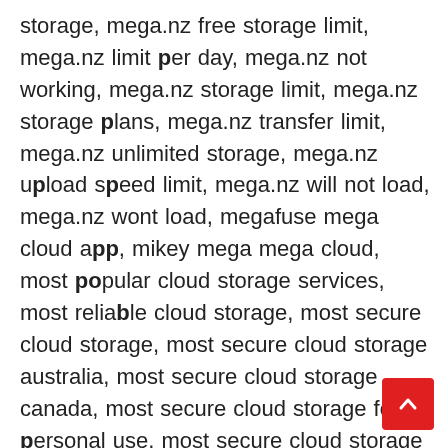storage, mega.nz free storage limit, mega.nz limit per day, mega.nz not working, mega.nz storage limit, mega.nz storage plans, mega.nz transfer limit, mega.nz unlimited storage, mega.nz upload speed limit, mega.nz will not load, mega.nz wont load, megafuse mega cloud app, mikey mega mega cloud, most popular cloud storage services, most reliable cloud storage, most secure cloud storage, most secure cloud storage australia, most secure cloud storage canada, most secure cloud storage for personal use, most secure cloud storage for photos, most secure cloud storage free, most secure cloud storage in the world, most secure cloud storage reddit, most trusted cloud storage, move file from mega to google